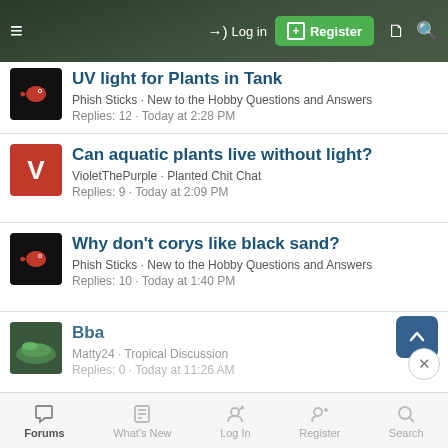Log in | Register
UV light for Plants in Tank · Phish Sticks · New to the Hobby Questions and Answers · Replies: 12 · Today at 2:28 PM
Can aquatic plants live without light? · VioletThePurple · Planted Chit Chat · Replies: 9 · Today at 2:09 PM
Why don't corys like black sand? · Phish Sticks · New to the Hobby Questions and Answers · Replies: 10 · Today at 1:40 PM
Bba · Matty24 · Tropical Discussion · Replies: 0 · Today at 11:26 AM
Forums | What's New | Log In | Register | Search